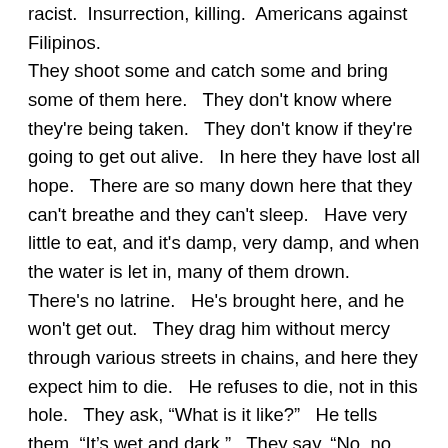racist.  Insurrection, killing.  Americans against Filipinos.  They shoot some and catch some and bring some of them here.   They don't know where they're being taken.   They don't know if they're going to get out alive.   In here they have lost all hope.   There are so many down here that they can't breathe and they can't sleep.   Have very little to eat, and it's damp, very damp, and when the water is let in, many of them drown.   There's no latrine.   He's brought here, and he won't get out.   They drag him without mercy through various streets in chains, and here they expect him to die.   He refuses to die, not in this hole.   They ask, “What is it like?”   He tells them, “It’s wet and dark.”   They say, “No, no, tell us what it’s really like.”   He gives them a full description.   Tells them there's no latrine.   But then someone says, ‘It has to be worse than that.   The puss and the shit!   Men dying all around you, and....’   And having told the truth, which is horrible enough, someone